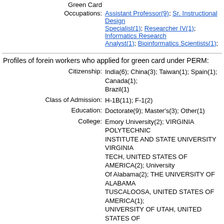Green Card Occupations: Assistant Professor(9); Sr. Instructional Design Specialist(1); Researcher IV(1); Informatics Research Analyst(1); Bioinformatics Scientists(1);
Profiles of forein workers who applied for green card under PERM:
Citizenship: India(6); China(3); Taiwan(1); Spain(1); Canada(1); Brazil(1)
Class of Admission: H-1B(11); F-1(2)
Education: Doctorate(9); Master's(3); Other(1)
College: Emory University(2); VIRGINIA POLYTECHNIC INSTITUTE AND STATE UNIVERSITY VIRGINIA TECH, UNITED STATES OF AMERICA(2); University Of Alabama(2); THE UNIVERSITY OF ALABAMA TUSCALOOSA, UNITED STATES OF AMERICA(1); UNIVERSITY OF UTAH, UNITED STATES OF AMERICA(1); University Of Southern California(1); University Of Alabama At Birmingham(1); University Of Santiago De Compostela, Spain(1); Bundelkhand University, India(1)
Major: BUSINESS INFORMATION TECHNOLOGY(2); English With Focus On Contemporary Transnationalglobal Literature(2); COMPUTER SCIENCE(2); Medicine(1); INSTRUCTIONAL LEADERSHIP(1); COMPUTER ENGINEERING(1);